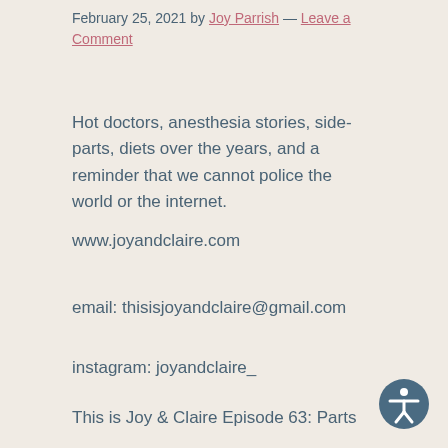February 25, 2021 by Joy Parrish — Leave a Comment
Hot doctors, anesthesia stories, side-parts, diets over the years, and a reminder that we cannot police the world or the internet.
www.joyandclaire.com
email: thisisjoyandclaire@gmail.com
instagram: joyandclaire_
This is Joy & Claire Episode 63: Parts
Episode Date: February 25, 2021